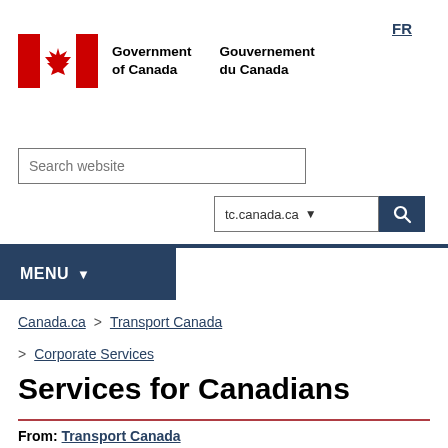FR
[Figure (logo): Government of Canada / Gouvernement du Canada logo with Canadian maple leaf flag icon]
Search website
tc.canada.ca
MENU
Canada.ca > Transport Canada > Corporate Services
Services for Canadians
From: Transport Canada